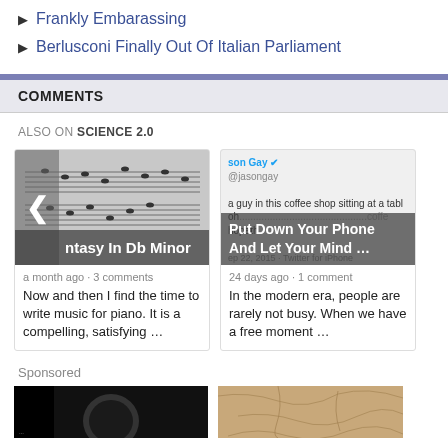Frankly Embarassing
Berlusconi Finally Out Of Italian Parliament
COMMENTS
ALSO ON SCIENCE 2.0
[Figure (screenshot): Card showing sheet music image with overlay text 'ntasy In Db Minor', arrow navigation, timestamp 'a month ago • 3 comments', and excerpt 'Now and then I find the time to write music for piano. It is a compelling, satisfying ...']
[Figure (screenshot): Card showing tweet screenshot from 'son Gay @jasongay' about coffee shop, with overlay 'Put Down Your Phone And Let Your Mind ...', timestamp '24 days ago • 1 comment', and excerpt 'In the modern era, people are rarely not busy. When we have a free moment ...']
Sponsored
[Figure (photo): Dark black and white photo, partially visible at bottom]
[Figure (photo): Sandy/earthy colored texture photo, partially visible at bottom]